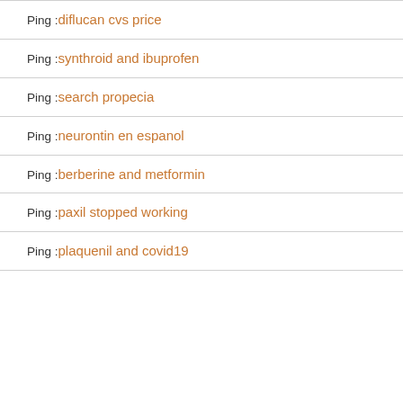Ping :diflucan cvs price
Ping :synthroid and ibuprofen
Ping :search propecia
Ping :neurontin en espanol
Ping :berberine and metformin
Ping :paxil stopped working
Ping :plaquenil and covid19